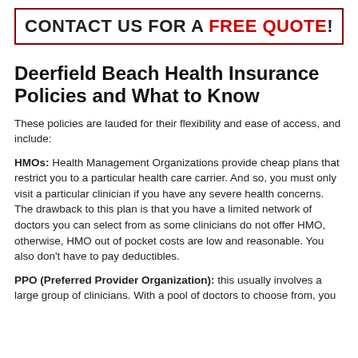CONTACT US FOR A FREE QUOTE!
Deerfield Beach Health Insurance Policies and What to Know
These policies are lauded for their flexibility and ease of access, and include:
HMOs: Health Management Organizations provide cheap plans that restrict you to a particular health care carrier. And so, you must only visit a particular clinician if you have any severe health concerns. The drawback to this plan is that you have a limited network of doctors you can select from as some clinicians do not offer HMO, otherwise, HMO out of pocket costs are low and reasonable. You also don't have to pay deductibles.
PPO (Preferred Provider Organization): this usually involves a large group of clinicians. With a pool of doctors to choose from, you